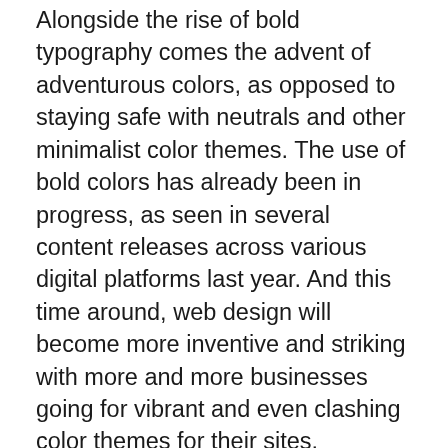Alongside the rise of bold typography comes the advent of adventurous colors, as opposed to staying safe with neutrals and other minimalist color themes. The use of bold colors has already been in progress, as seen in several content releases across various digital platforms last year. And this time around, web design will become more inventive and striking with more and more businesses going for vibrant and even clashing color themes for their sites.
In fact, experimenting with bold and bright colors may be exactly what businesses and brands need in order to set them apart from their competition. Custom color themes are also integral in establishing a unique user experience and brand identity as well.